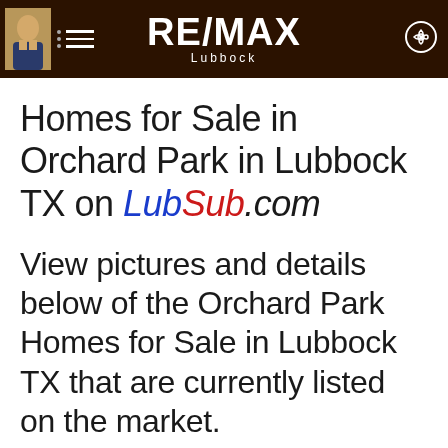RE/MAX Lubbock
Homes for Sale in Orchard Park in Lubbock TX on LubSub.com
View pictures and details below of the Orchard Park Homes for Sale in Lubbock TX that are currently listed on the market.